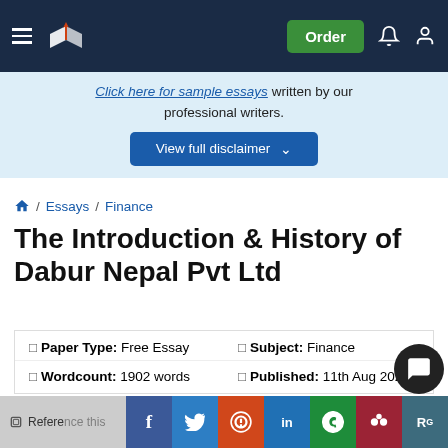Navigation bar with logo, hamburger menu, Order button, notification and account icons
Click here for sample essays written by our professional writers.
View full disclaimer
Home / Essays / Finance
The Introduction & History of Dabur Nepal Pvt Ltd
| Property | Value |
| --- | --- |
| Paper Type: | Free Essay | Subject: | Finance |
| Wordcount: | 1902 words | Published: | 11th Aug 2021 |
Reference this — Social share buttons: Facebook, Twitter, Reddit, LinkedIn, WhatsApp, Mendeley, ResearchGate